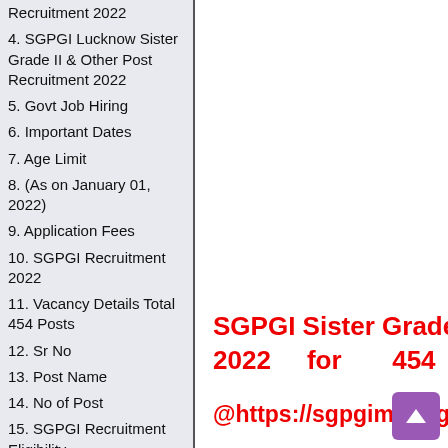Recruitment 2022
4. SGPGI Lucknow Sister Grade II & Other Post Recruitment 2022
5. Govt Job Hiring
6. Important Dates
7. Age Limit
8. (As on January 01, 2022)
9. Application Fees
10. SGPGI Recruitment 2022
11. Vacancy Details Total 454 Posts
12. Sr No
13. Post Name
14. No of Post
15. SGPGI Recruitment Eligibility
16. How to Apply for SGPGI Lucknow Recruitment 2022?
SGPGI Sister Grade II Admit Card 2022 for 454 Posts @https://sgpgims.org.in/